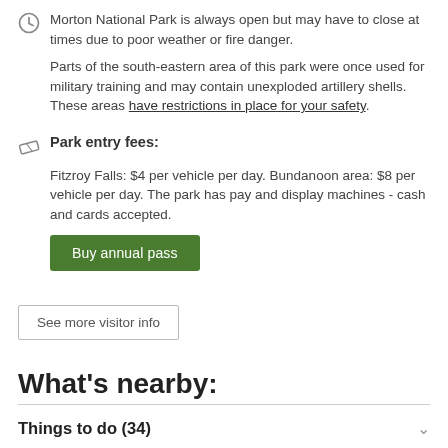Morton National Park is always open but may have to close at times due to poor weather or fire danger.
Parts of the south-eastern area of this park were once used for military training and may contain unexploded artillery shells. These areas have restrictions in place for your safety.
Park entry fees: Fitzroy Falls: $4 per vehicle per day. Bundanoon area: $8 per vehicle per day. The park has pay and display machines - cash and cards accepted.
Buy annual pass
See more visitor info
What's nearby:
Things to do (34)